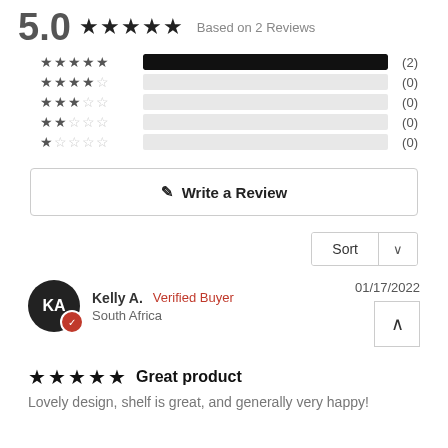5.0 ★★★★★ Based on 2 Reviews
[Figure (infographic): Rating breakdown bars: 5-star (2), 4-star (0), 3-star (0), 2-star (0), 1-star (0)]
✎ Write a Review
Sort ∨
Kelly A. Verified Buyer 01/17/2022 South Africa
★★★★★ Great product
Lovely design, shelf is great, and generally very happy!